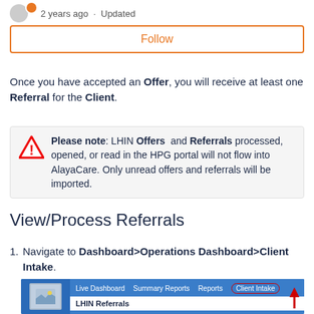2 years ago · Updated
Follow
Once you have accepted an Offer, you will receive at least one Referral for the Client.
Please note: LHIN Offers and Referrals processed, opened, or read in the HPG portal will not flow into AlayaCare. Only unread offers and referrals will be imported.
View/Process Referrals
Navigate to Dashboard>Operations Dashboard>Client Intake.
[Figure (screenshot): Screenshot of AlayaCare dashboard navigation bar showing Live Dashboard, Summary Reports, Reports, and Client Intake tabs, with Client Intake circled in red and a red arrow pointing to it. Below shows LHIN Referrals section.]